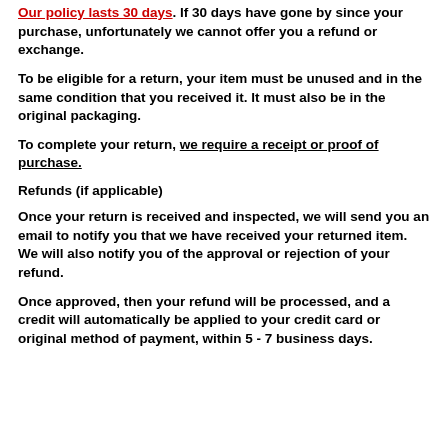Our policy lasts 30 days. If 30 days have gone by since your purchase, unfortunately we cannot offer you a refund or exchange.
To be eligible for a return, your item must be unused and in the same condition that you received it. It must also be in the original packaging.
To complete your return, we require a receipt or proof of purchase.
Refunds (if applicable)
Once your return is received and inspected, we will send you an email to notify you that we have received your returned item. We will also notify you of the approval or rejection of your refund.
Once approved, then your refund will be processed, and a credit will automatically be applied to your credit card or original method of payment, within 5 - 7 business days.